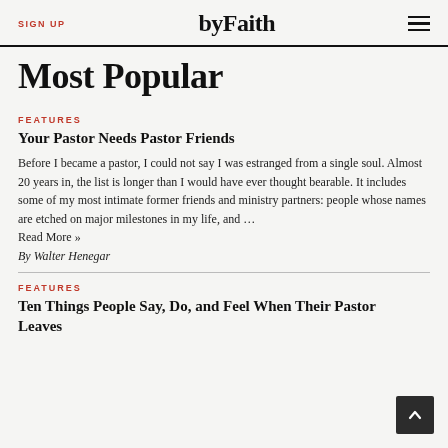SIGN UP | byFaith
Most Popular
FEATURES
Your Pastor Needs Pastor Friends
Before I became a pastor, I could not say I was estranged from a single soul. Almost 20 years in, the list is longer than I would have ever thought bearable. It includes some of my most intimate former friends and ministry partners: people whose names are etched on major milestones in my life, and ... Read More »
By Walter Henegar
FEATURES
Ten Things People Say, Do, and Feel When Their Pastor Leaves